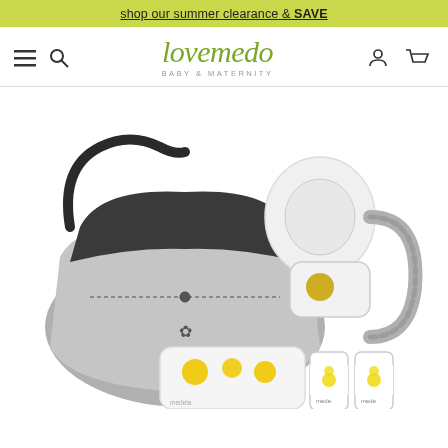shop our summer clearance & SAVE
[Figure (logo): lovemedo BABY & MATERNITY logo in olive/green script font with navigation icons (hamburger menu, search, user account, cart)]
[Figure (photo): Medela breast pump set including a gray/black tote bag, breast pump device components, and Medela branded bottles with yellow floral design on white background]